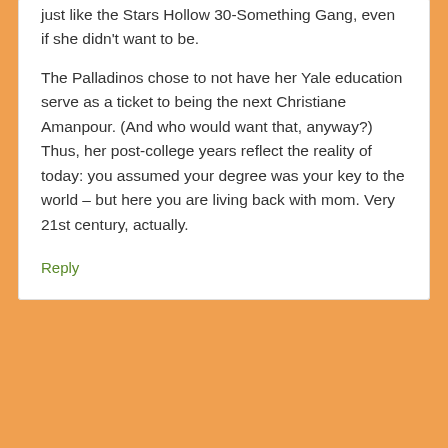just like the Stars Hollow 30-Something Gang, even if she didn't want to be.

The Palladinos chose to not have her Yale education serve as a ticket to being the next Christiane Amanpour. (And who would want that, anyway?) Thus, her post-college years reflect the reality of today: you assumed your degree was your key to the world – but here you are living back with mom. Very 21st century, actually.
Reply
Rachel says
December 4, 2016 at 1:10 am
Also raging on the Rory-Logan arc. What